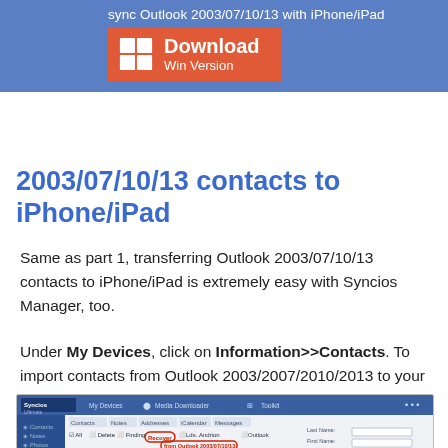sync Outlook 2003/07/10/13 with iPhone/iPad
[Figure (screenshot): Download button with Windows icon, orange/red background, text 'Download Win Version' on blue header bar]
2003/07/10/13 contacts to iPhone/iPad
Same as part 1, transferring Outlook 2003/07/10/13 contacts to iPhone/iPad is extremely easy with Syncios Manager, too.
Under My Devices, click on Information>>Contacts. To import contacts from Outlook 2003/2007/2010/2013 to your iOS devices, simply click Recover, then select from Outlook 2003/07/10/13.
[Figure (screenshot): Syncios Manager application screenshot showing the Contacts import interface with Recover button circled and 'from Outlook 2003/07/10/13' option circled in red]